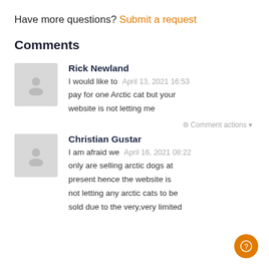Have more questions? Submit a request
Comments
Rick Newland
I would like to  April 13, 2021 16:53
pay for one Arctic cat but your website is not letting me
Comment actions ▼
Christian Gustar
I am afraid we  April 16, 2021 08:22
only are selling arctic dogs at present hence the website is not letting any arctic cats to be sold due to the very,very limited